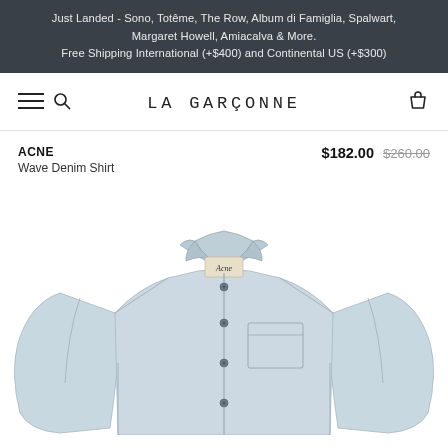Just Landed - Sono, Totême, The Row, Album di Famiglia, Spalwart, Margaret Howell, Amiacalva & More.
Free Shipping International (+$400) and Continental US (+$300)
LA GARÇONNE
ACNE
Wave Denim Shirt
$182.00 $260.00
[Figure (photo): Light blue Acne Wave Denim Shirt displayed flat, showing collar, button placket with snap buttons, chest pocket, and Acne label visible at collar.]